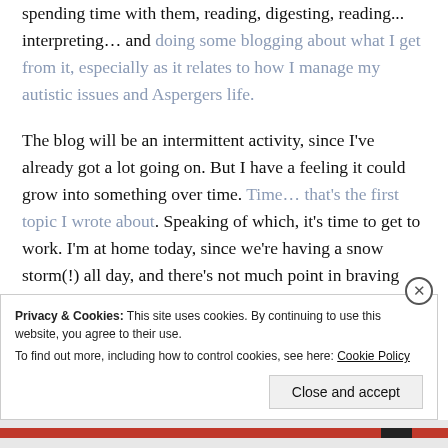spending time with them, reading, digesting, reading... interpreting… and doing some blogging about what I get from it, especially as it relates to how I manage my autistic issues and Aspergers life.
The blog will be an intermittent activity, since I've already got a lot going on. But I have a feeling it could grow into something over time. Time… that's the first topic I wrote about. Speaking of which, it's time to get to work. I'm at home today, since we're having a snow storm(!) all day, and there's not much point in braving
Privacy & Cookies: This site uses cookies. By continuing to use this website, you agree to their use. To find out more, including how to control cookies, see here: Cookie Policy
Close and accept